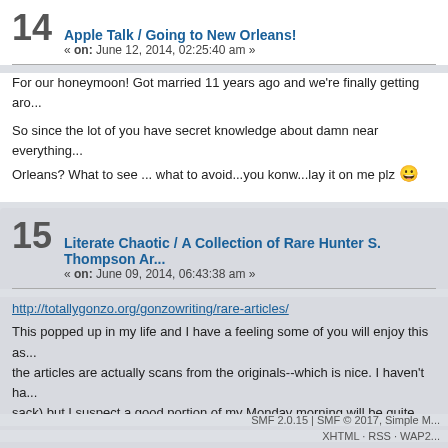14 Apple Talk / Going to New Orleans! « on: June 12, 2014, 02:25:40 am »
For our honeymoon!  Got married 11 years ago and we're finally getting aro...
So since the lot of you have secret knowledge about damn near everything... Orleans?  What to see ... what to avoid...you konw...lay it on me plz 😀
15 Literate Chaotic / A Collection of Rare Hunter S. Thompson Ar... « on: June 09, 2014, 06:43:38 am »
http://totallygonzo.org/gonzowriting/rare-articles/
This popped up in my life and I have a feeling some of you will enjoy this as... the articles are actually scans from the originals--which is nice. I haven't ha... sack) but I suspect a good portion of my Monday morning will be quite occu...
Pages: [1] 2 3 4 ... 6
SMF 2.0.15 | SMF © 2017, Simple M...
XHTML · RSS · WAP2...